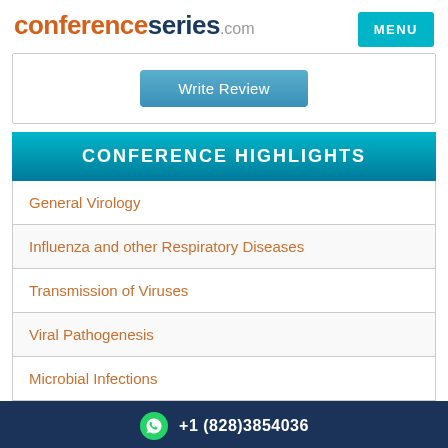conferenceseries.com
MENU
Write Review
CONFERENCE HIGHLIGHTS
General Virology
Influenza and other Respiratory Diseases
Transmission of Viruses
Viral Pathogenesis
Microbial Infections
+1 (828)3854036
Viral Oncology